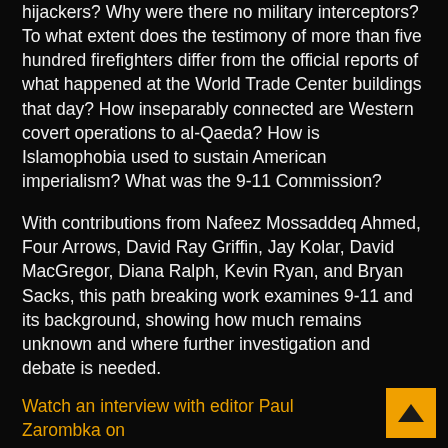hijackers? Why were there no military interceptors? To what extent does the testimony of more than five hundred firefighters differ from the official reports of what happened at the World Trade Center buildings that day? How inseparably connected are Western covert operations to al-Qaeda? How is Islamophobia used to sustain American imperialism? What was the 9-11 Commission?
With contributions from Nafeez Mossaddeq Ahmed, Four Arrows, David Ray Griffin, Jay Kolar, David MacGregor, Diana Ralph, Kevin Ryan, and Bryan Sacks, this path breaking work examines 9-11 and its background, showing how much remains unknown and where further investigation and debate is needed.
Watch an interview with editor Paul Zarombka on